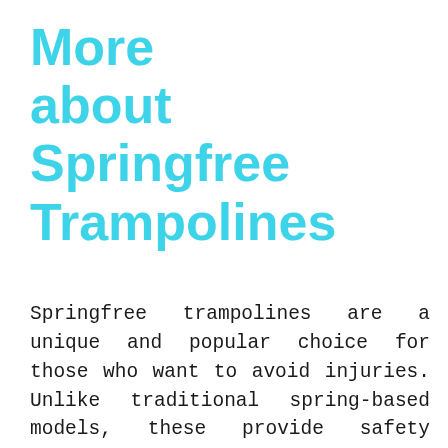More about Springfree Trampolines
Springfree trampolines are a unique and popular choice for those who want to avoid injuries. Unlike traditional spring-based models, these provide safety without sacrificing performance or ease of use with their innovative design that does not require pads or springs! In addition, the unique design eliminates all those pesky safety pads that can come into play when you're trying to have fun in your backyard or yard games with